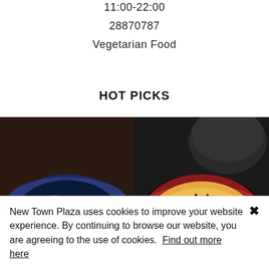11:00-22:00
28870787
Vegetarian Food
HOT PICKS
[Figure (photo): Two food photos side by side: left shows a blue bowl with a green vegetable salad topped with shredded bonito/cheese; right shows a red bowl with a rice/egg dish topped with black seaweed strips, with a dark teapot in the background.]
New Town Plaza uses cookies to improve your website experience. By continuing to browse our website, you are agreeing to the use of cookies.  Find out more here